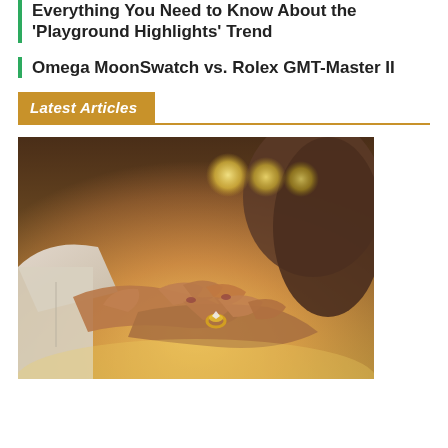Everything You Need to Know About the 'Playground Highlights' Trend
Omega MoonSwatch vs. Rolex GMT-Master II
Latest Articles
[Figure (photo): Close-up photo of two people's hands, one placing a ring on the other's finger, warm amber/golden bokeh background lighting with three golden bokeh circles visible in upper middle area]